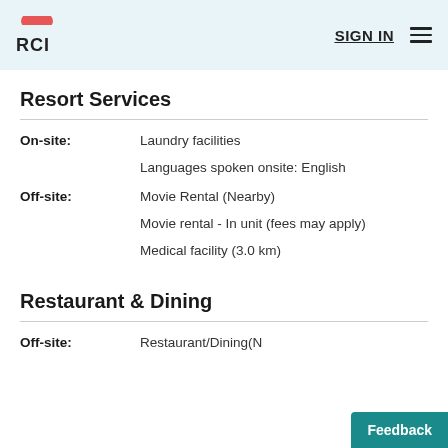RCI | SIGN IN
Resort Services
On-site: Laundry facilities
Languages spoken onsite: English
Off-site: Movie Rental (Nearby)
Movie rental - In unit (fees may apply)
Medical facility (3.0 km)
Restaurant & Dining
Off-site: Restaurant/Dining(N...